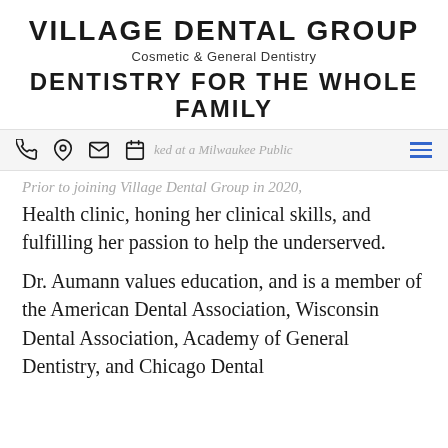VILLAGE DENTAL GROUP
Cosmetic & General Dentistry
DENTISTRY FOR THE WHOLE FAMILY
Prior to joining Village Dental Group in 2020,
[Figure (other): Navigation bar with phone, location, email, calendar icons and faded text 'Aumann worked at a Milwaukee Public' and a hamburger menu icon]
Health clinic, honing her clinical skills, and fulfilling her passion to help the underserved.
Dr. Aumann values education, and is a member of the American Dental Association, Wisconsin Dental Association, Academy of General Dentistry, and Chicago Dental Society. She remains a member of her local life...